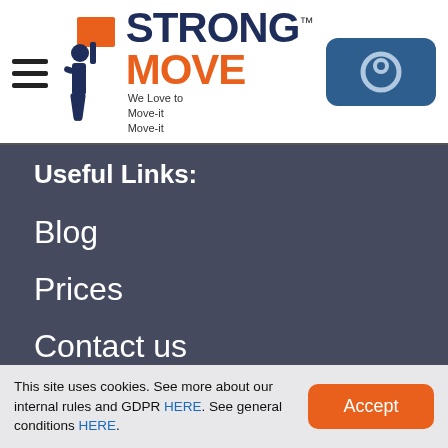STRONG MOVE™ — We Love to Move-it Move-it
Useful Links:
Blog
Prices
Contact us
Storage Coverage
Removals Coverage
This site uses cookies. See more about our internal rules and GDPR HERE. See general conditions HERE.